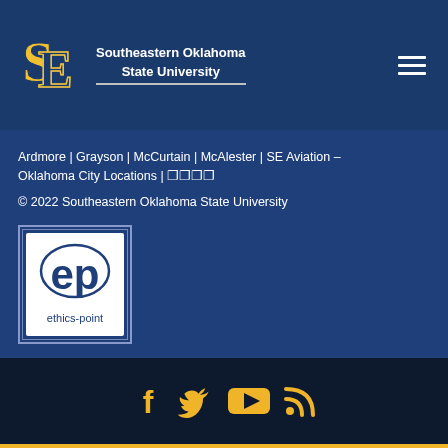[Figure (logo): Southeastern Oklahoma State University logo with SE monogram in gold/yellow and university name in white on dark blue background]
Ardmore | Grayson | McCurtain | McAlester | SE Aviation – Oklahoma City Locations | 🔗🔗🔗🔗
© 2022 Southeastern Oklahoma State University
[Figure (logo): Ethics Point logo - white square with 'ep' letters and 'ethics-point' text below on blue background]
[Figure (infographic): Social media icons: Facebook, Twitter, YouTube, RSS feed - all in gold/yellow color on dark navy background]
Visit | Apply | Request Info